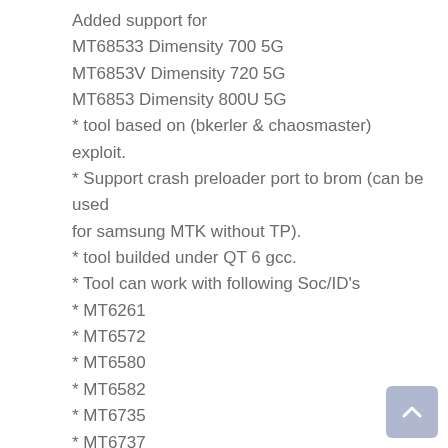Added support for
MT68533 Dimensity 700 5G
MT6853V Dimensity 720 5G
MT6853 Dimensity 800U 5G
* tool based on (bkerler & chaosmaster) exploit.
* Support crash preloader port to brom (can be used for samsung MTK without TP).
* tool builded under QT 6 gcc.
* Tool can work with following Soc/ID's
* MT6261
* MT6572
* MT6580
* MT6582
* MT6735
* MT6737
* MT6739
* MT6755
* MT6757
* MT6761